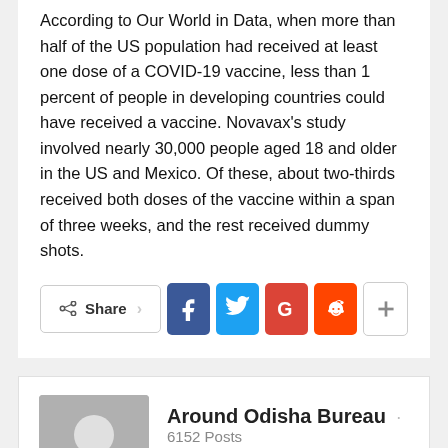According to Our World in Data, when more than half of the US population had received at least one dose of a COVID-19 vaccine, less than 1 percent of people in developing countries could have received a vaccine. Novavax's study involved nearly 30,000 people aged 18 and older in the US and Mexico. Of these, about two-thirds received both doses of the vaccine within a span of three weeks, and the rest received dummy shots.
[Figure (infographic): Social share buttons row: Share button, Facebook, Twitter, Google+, Reddit, and a plus/more button]
[Figure (infographic): Author card with avatar placeholder, name 'Around Odisha Bureau', 6152 Posts, 0 Comments, and a back-to-top pink button]